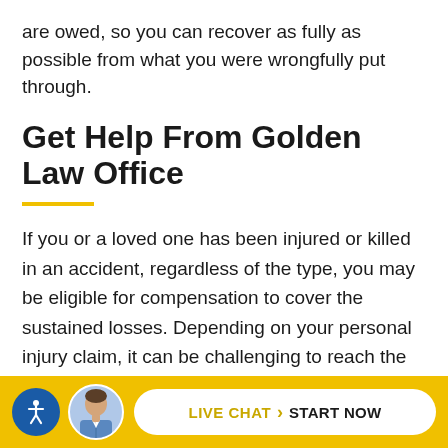are owed, so you can recover as fully as possible from what you were wrongfully put through.
Get Help From Golden Law Office
If you or a loved one has been injured or killed in an accident, regardless of the type, you may be eligible for compensation to cover the sustained losses. Depending on your personal injury claim, it can be challenging to reach the outcome you deserve. In order to maximize your chances of receiving full and fair compensation,
LIVE CHAT › START NOW